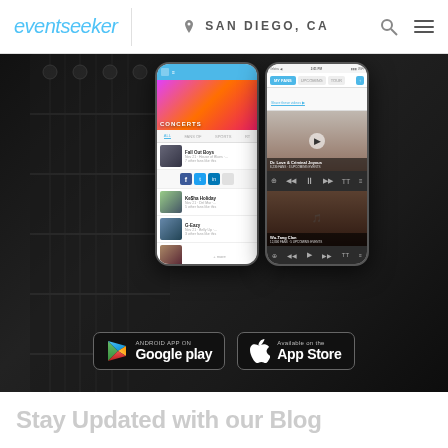eventseeker — SAN DIEGO, CA
[Figure (screenshot): Hero section showing two smartphone mockups displaying the eventseeker app interface, with a dark guitar background. Left phone shows concerts list with artists. Right phone shows music player with artist cards. Below the phones are Google Play and App Store download buttons.]
Stay Updated with our Blog